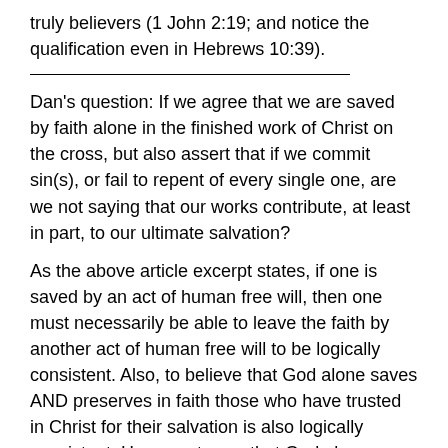truly believers (1 John 2:19; and notice the qualification even in Hebrews 10:39).
Dan's question: If we agree that we are saved by faith alone in the finished work of Christ on the cross, but also assert that if we commit sin(s), or fail to repent of every single one, are we not saying that our works contribute, at least in part, to our ultimate salvation?
As the above article excerpt states, if one is saved by an act of human free will, then one must necessarily be able to leave the faith by another act of human free will to be logically consistent. Also, to believe that God alone saves AND preserves in faith those who have trusted in Christ for their salvation is also logically consistent. However to say that God alone saves initially (grants eternal life) but...